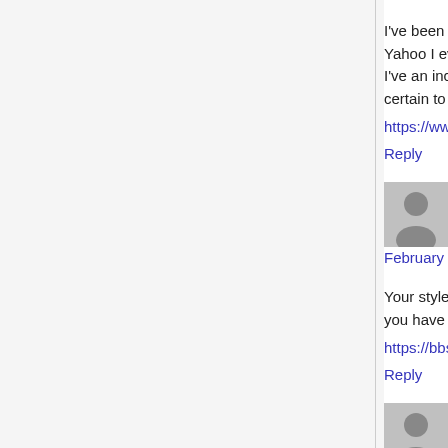I've been exploring for a little for any high quality... Yahoo I eventually stumbled upon this web site. I've an incredibly just right uncanny feeling I fou... certain to do not forget this website and provides
https://www.sagamecasino.com/
Reply
Houston Fenceroy says:
February 2, 2021 at 4:32 pm
Your style is very unique in comparison to other... you have the opportunity, Guess I'll just book ma
https://bbs.now.qq.com/home.php?mod=space&
Reply
Reed Strassell says:
February 2, 2021 at 4:43 pm
https://bbs.now.qq.com/home.php?mod=space&
Reply